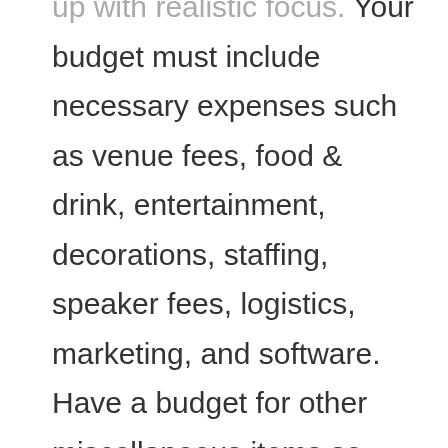up with realistic focus. Your budget must include necessary expenses such as venue fees, food & drink, entertainment, decorations, staffing, speaker fees, logistics, marketing, and software. Have a budget for other miscellaneous items so that you'll not be caught unawares.